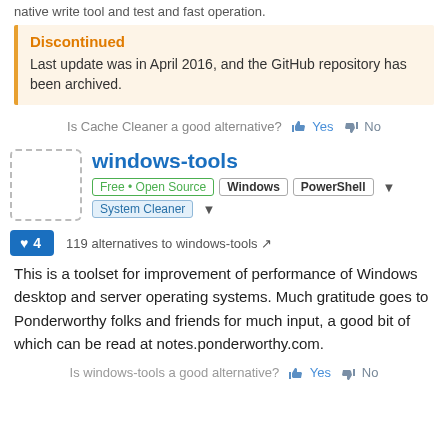native write tool and test and fast operation.
Discontinued
Last update was in April 2016, and the GitHub repository has been archived.
Is Cache Cleaner a good alternative? Yes No
windows-tools
Free • Open Source  Windows  PowerShell  System Cleaner
♥ 4   119 alternatives to windows-tools
This is a toolset for improvement of performance of Windows desktop and server operating systems. Much gratitude goes to Ponderworthy folks and friends for much input, a good bit of which can be read at notes.ponderworthy.com.
Is windows-tools a good alternative? Yes No